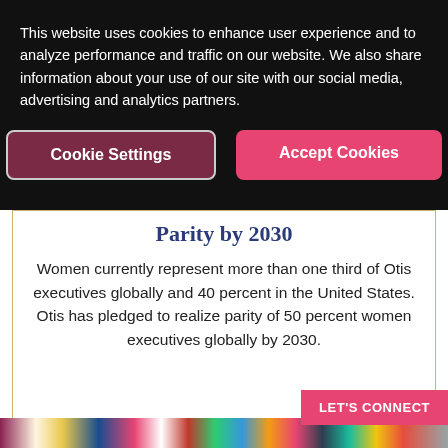This website uses cookies to enhance user experience and to analyze performance and traffic on our website. We also share information about your use of our site with our social media, advertising and analytics partners.
Cookie Settings
Accept Cookies
Parity by 2030
Women currently represent more than one third of Otis executives globally and 40 percent in the United States. Otis has pledged to realize parity of 50 percent women executives globally by 2030.
LET'S CONNECT